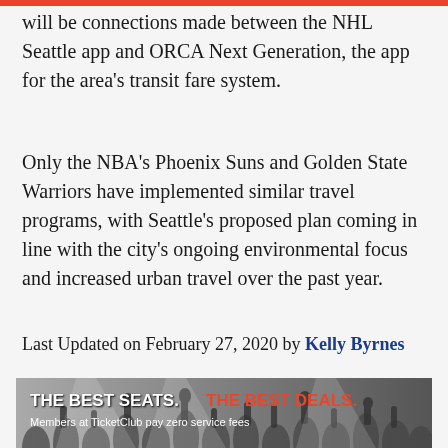will be connections made between the NHL Seattle app and ORCA Next Generation, the app for the area's transit fare system.
Only the NBA's Phoenix Suns and Golden State Warriors have implemented similar travel programs, with Seattle's proposed plan coming in line with the city's ongoing environmental focus and increased urban travel over the past year.
Last Updated on February 27, 2020 by Kelly Byrnes
[Figure (other): Advertisement banner for TicketClub with crowd background. Text reads: THE BEST SEATS. THE BEST DEALS. Members at TicketClub pay zero service fees]